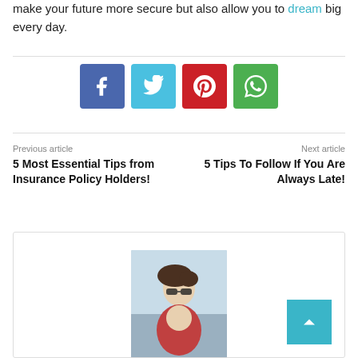make your future more secure but also allow you to dream big every day.
[Figure (illustration): Four social sharing buttons: Facebook (blue), Twitter (cyan), Pinterest (red), WhatsApp (green)]
Previous article
5 Most Essential Tips from Insurance Policy Holders!
Next article
5 Tips To Follow If You Are Always Late!
[Figure (photo): Author photo: woman with sunglasses and windswept hair outdoors]